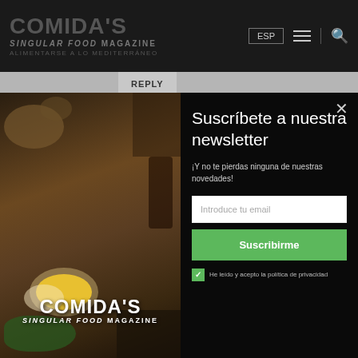COMIDA'S SINGULAR FOOD magazine
REPLY
[Figure (screenshot): Food magazine modal popup with newsletter subscription form. Left panel shows food image with COMIDA'S SINGULAR FOOD magazine logo. Right panel on black background shows newsletter subscription: title 'Suscribete a nuestra newsletter', subtitle '¡Y no te pierdas ninguna de nuestras novedades!', email input field 'Introduce tu email', green 'Suscribirme' button, and checkbox with privacy policy text 'He leido y acepto la politica de privacidad'. Close X button at top right.]
beats by dre pas cher
1 JUNE, 2014 AT 3:10 PM
Whoa, and its particular functioning? I had been getting all kinds of iSCSI time period outs when we upgraded the palo«ado...